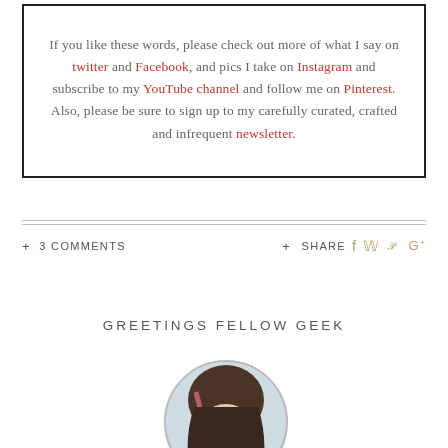If you like these words, please check out more of what I say on twitter and Facebook, and pics I take on Instagram and subscribe to my YouTube channel and follow me on Pinterest. Also, please be sure to sign up to my carefully curated, crafted and infrequent newsletter.
+ 3 COMMENTS
+ SHARE
GREETINGS FELLOW GEEK
[Figure (photo): Circular portrait photo of a person with dark hair, partially visible, cropped at bottom of page]